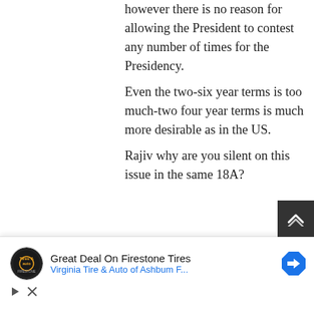however there is no reason for allowing the President to contest any number of times for the Presidency.
Even the two-six year terms is too much-two four year terms is much more desirable as in the US.
Rajiv why are you silent on this issue in the same 18A?
[Figure (illustration): User avatar: a tan/beige geometric patterned square avatar image]
Truth / January 31, 2013
[Figure (infographic): Advertisement banner: Firestone tire shop logo, text 'Great Deal On Firestone Tires', subtext 'Virginia Tire & Auto of Ashbum F...', map direction icon]